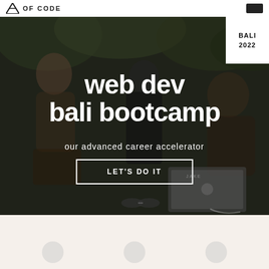OF CODE (logo/nav bar)
[Figure (photo): Hero section with dark-toned photo of people sitting outdoors with a laptop, in Bali, behind large overlay text about a web dev bootcamp.]
web dev bali bootcamp
our advanced career accelerator
LET'S DO IT
BALI
2022